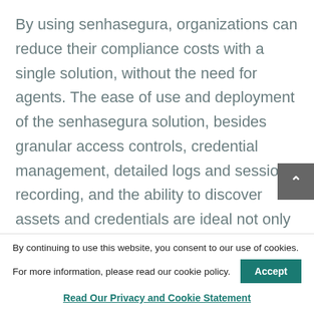By using senhasegura, organizations can reduce their compliance costs with a single solution, without the need for agents. The ease of use and deployment of the senhasegura solution, besides granular access controls, credential management, detailed logs and session recording, and the ability to discover assets and credentials are ideal not only for the implementation of regulatory requirements, but to effectively improve the behavior of any...
By continuing to use this website, you consent to our use of cookies.
For more information, please read our cookie policy.
Accept
Read Our Privacy and Cookie Statement